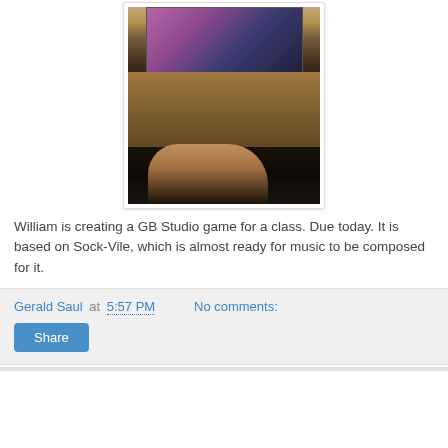[Figure (photo): Person's hand on a mouse at a desk with a computer monitor showing a colorful game (GB Studio) being developed. Dark room with items on desk.]
William is creating a GB Studio game for a class. Due today. It is based on Sock-Vile, which is almost ready for music to be composed for it.
Gerald Saul at 5:57 PM   No comments:
Share